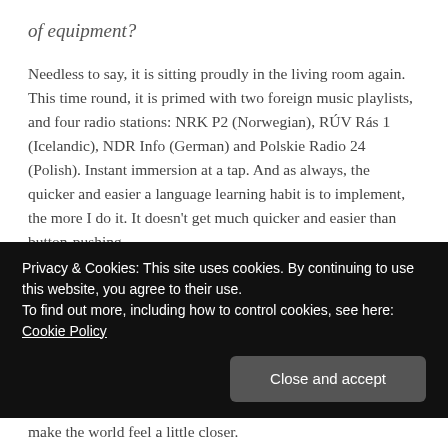of equipment?
Needless to say, it is sitting proudly in the living room again. This time round, it is primed with two foreign music playlists, and four radio stations: NRK P2 (Norwegian), RÚV Rás 1 (Icelandic), NDR Info (German) and Polskie Radio 24 (Polish). Instant immersion at a tap. And as always, the quicker and easier a language learning habit is to implement, the more I do it. It doesn't get much quicker and easier than button-pushing.
What's more, it has become a valuable portal to a
Privacy & Cookies: This site uses cookies. By continuing to use this website, you agree to their use.
To find out more, including how to control cookies, see here: Cookie Policy
Close and accept
make the world feel a little closer.